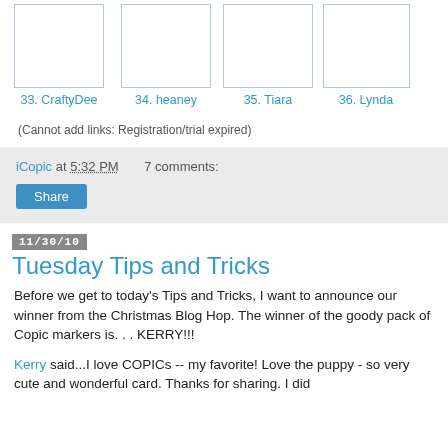[Figure (other): Row of four thumbnail images with labels: 33. CraftyDee, 34. heaney, 35. Tiara, 36. Lynda]
(Cannot add links: Registration/trial expired)
iCopic at 5:32 PM    7 comments:
Share
11/30/10
Tuesday Tips and Tricks
Before we get to today's Tips and Tricks, I want to announce our winner from the Christmas Blog Hop. The winner of the goody pack of Copic markers is. . . KERRY!!!
Kerry said...I love COPICs -- my favorite! Love the puppy - so very cute and wonderful card. Thanks for sharing. I did